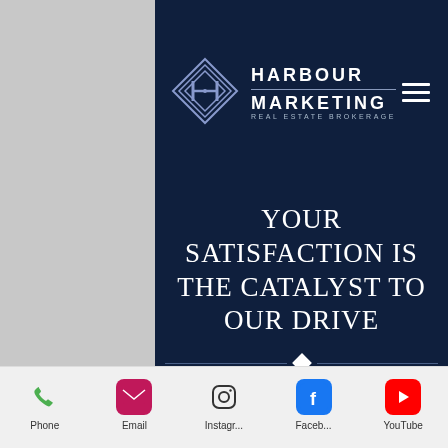[Figure (logo): Harbour Marketing Real Estate Brokerage logo with diamond geometric icon and text]
YOUR SATISFACTION IS THE CATALYST TO OUR DRIVE
Why Choose Harbour Marketing
Our Services
PROFESSIONAL ADVISORY
Phone | Email | Instagr... | Faceb... | YouTube